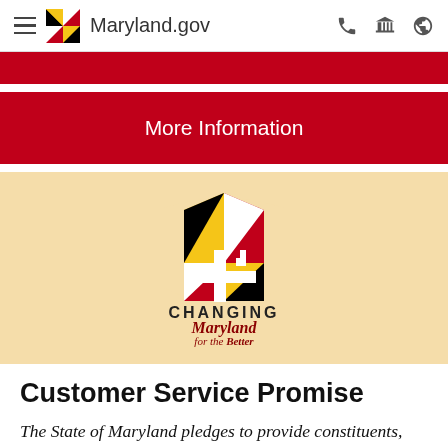Maryland.gov
More Information
[Figure (logo): Changing Maryland for the Better logo with Maryland state flag emblem in arch shape, text reads CHANGING Maryland for the Better]
Customer Service Promise
The State of Maryland pledges to provide constituents, businesses, customers, and stakeholders with friendly and courteous, timely